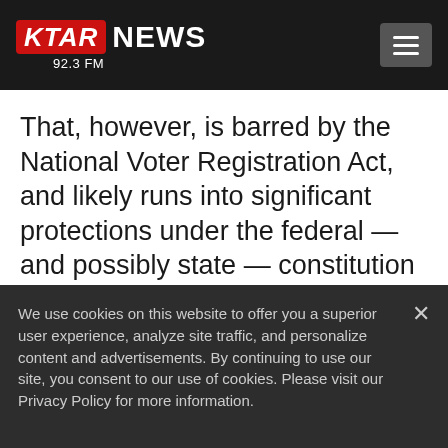[Figure (logo): KTAR NEWS 92.3 FM logo with red KTAR box and white NEWS text, with hamburger menu button on the right]
That, however, is barred by the National Voter Registration Act, and likely runs into significant protections under the federal — and possibly state — constitution and laws, constitutional law scholars say.
We use cookies on this website to offer you a superior user experience, analyze site traffic, and personalize content and advertisements. By continuing to use our site, you consent to our use of cookies. Please visit our Privacy Policy for more information.
Accept Cookies